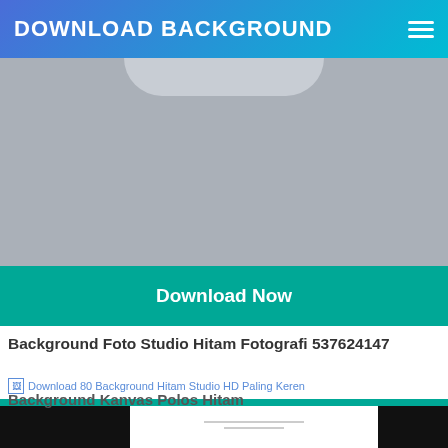DOWNLOAD BACKGROUND
[Figure (photo): Gray placeholder image area with a rounded rectangle shape at the top]
Download Now
Background Foto Studio Hitam Fotografi 537624147
[Figure (photo): Broken image icon with alt text: Download 80 Background Hitam Studio HD Paling Keren]
Download Now
Background Kanvas Polos Hitam
[Figure (photo): Bottom strip with black rectangles on left and right and a partially visible image in the center]